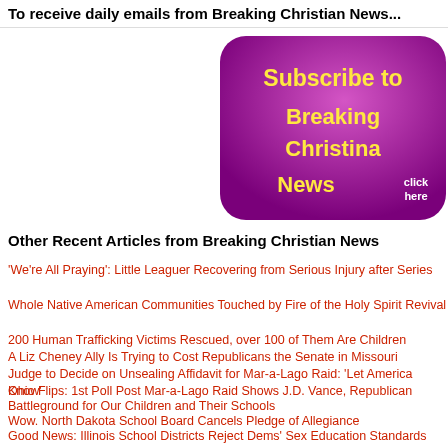To receive daily emails from Breaking Christian News...
[Figure (other): Purple rounded rectangle button with yellow bold text 'Subscribe to Breaking Christian News' and white text 'click here']
Other Recent Articles from Breaking Christian News
'We're All Praying': Little Leaguer Recovering from Serious Injury after Series
Whole Native American Communities Touched by Fire of the Holy Spirit Revival
200 Human Trafficking Victims Rescued, over 100 of Them Are Children
A Liz Cheney Ally Is Trying to Cost Republicans the Senate in Missouri
Judge to Decide on Unsealing Affidavit for Mar-a-Lago Raid: 'Let America Know'
Ohio Flips: 1st Poll Post Mar-a-Lago Raid Shows J.D. Vance, Republican
Battleground for Our Children and Their Schools
Wow. North Dakota School Board Cancels Pledge of Allegiance
Good News: Illinois School Districts Reject Dems' Sex Education Standards
'I Took Him Down': Good Samaritan Boldly Saves the Day Moments Before
Baby, Elder Victim in Hollywood...